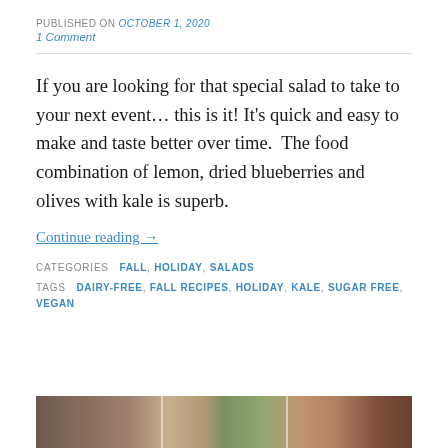PUBLISHED ON October 1, 2020
1 Comment
If you are looking for that special salad to take to your next event… this is it! It's quick and easy to make and taste better over time.  The food combination of lemon, dried blueberries and olives with kale is superb.
Continue reading →
CATEGORIES  FALL, HOLIDAY, SALADS
TAGS  DAIRY-FREE, FALL RECIPES, HOLIDAY, KALE, SUGAR FREE, VEGAN
[Figure (photo): Photo strip at bottom showing food/salad images in three panels]